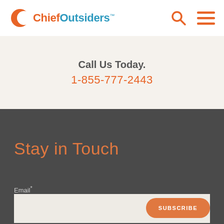[Figure (logo): Chief Outsiders logo with orange crescent moon icon, bold orange 'Chief' and teal 'Outsiders' text with TM mark]
[Figure (other): Search icon (magnifying glass) and hamburger menu icon in orange]
Call Us Today.
1-855-777-2443
Stay in Touch
Email*
SUBSCRIBE